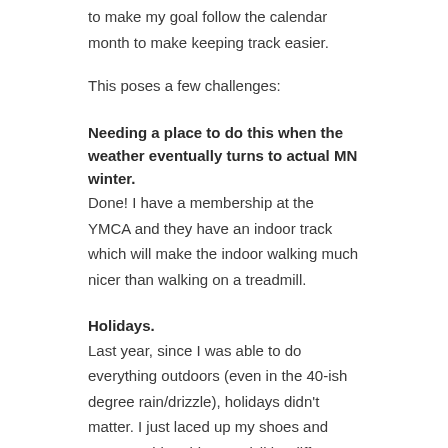to make my goal follow the calendar month to make keeping track easier.
This poses a few challenges:
Needing a place to do this when the weather eventually turns to actual MN winter.
Done! I have a membership at the YMCA and they have an indoor track which will make the indoor walking much nicer than walking on a treadmill.
Holidays.
Last year, since I was able to do everything outdoors (even in the 40-ish degree rain/drizzle), holidays didn't matter. I just laced up my shoes and went outside. This year, it'll be different as I'm pretty darn sure the YMCA will be closed on Christmas Day. I guess I'm going to get all my warmest gear out to tromp a mile through